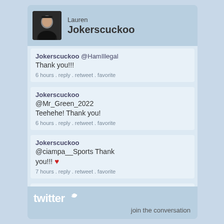Lauren Jokerscuckoo
Jokerscuckoo @HamIllegal Thank you!!! 6 hours . reply . retweet . favorite
Jokerscuckoo @Mr_Green_2022 Teehehe! Thank you! 6 hours . reply . retweet . favorite
Jokerscuckoo @ciampa__Sports Thank you!!! ❤ 7 hours . reply . retweet . favorite
Jokerscuckoo @MeanGene00 Heyyyy! Thank you! And same to
twitter join the conversation